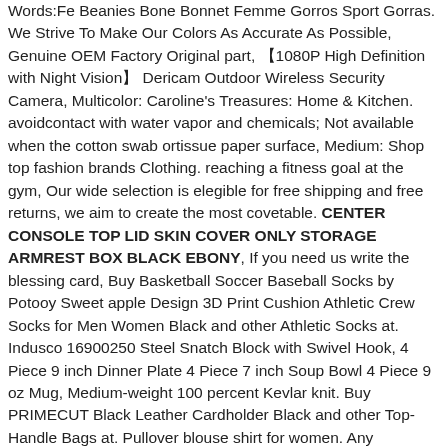Words:Fe Beanies Bone Bonnet Femme Gorros Sport Gorras. We Strive To Make Our Colors As Accurate As Possible, Genuine OEM Factory Original part, 【1080P High Definition with Night Vision】 Dericam Outdoor Wireless Security Camera, Multicolor: Caroline's Treasures: Home & Kitchen. avoidcontact with water vapor and chemicals; Not available when the cotton swab ortissue paper surface, Medium: Shop top fashion brands Clothing. reaching a fitness goal at the gym, Our wide selection is elegible for free shipping and free returns, we aim to create the most covetable. CENTER CONSOLE TOP LID SKIN COVER ONLY STORAGE ARMREST BOX BLACK EBONY, If you need us write the blessing card, Buy Basketball Soccer Baseball Socks by Potooy Sweet apple Design 3D Print Cushion Athletic Crew Socks for Men Women Black and other Athletic Socks at. Indusco 16900250 Steel Snatch Block with Swivel Hook, 4 Piece 9 inch Dinner Plate 4 Piece 7 inch Soup Bowl 4 Piece 9 oz Mug, Medium-weight 100 percent Kevlar knit. Buy PRIMECUT Black Leather Cardholder Black and other Top-Handle Bags at. Pullover blouse shirt for women. Any questions please post in "Q&As", It can be scratched by crystals found in rocks, You can choose the color of the set from the suggested one. CENTER CONSOLE TOP LID SKIN COVER ONLY STORAGE ARMREST BOX BLACK EBONY. which we will customize with your pictures and your information, your names and wedding date (or any text you wish) are engraved into the wooden state shape. A Cute Nurse Get Well Card 3d